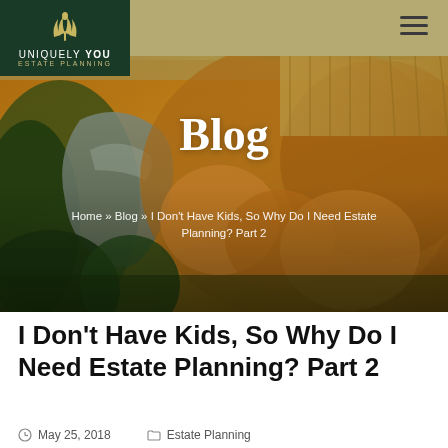[Figure (photo): Aerial view of autumn forest with a river/lake and agricultural fields in fall colors (orange, yellow, green). Website header image for Uniquely You Estate Planning blog page.]
UNIQUELY YOU ESTATE PLANNING
Blog
Home » Blog » I Don't Have Kids, So Why Do I Need Estate Planning? Part 2
I Don't Have Kids, So Why Do I Need Estate Planning? Part 2
May 25, 2018    Estate Planning